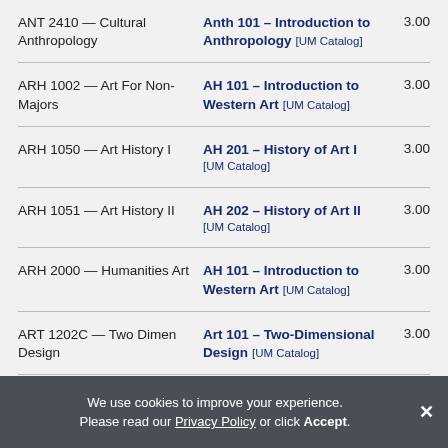| Course | Equivalent | Credits |
| --- | --- | --- |
| ANT 2410 — Cultural Anthropology | Anth 101 – Introduction to Anthropology [UM Catalog] | 3.00 |
| ARH 1002 — Art For Non-Majors | AH 101 – Introduction to Western Art [UM Catalog] | 3.00 |
| ARH 1050 — Art History I | AH 201 – History of Art I [UM Catalog] | 3.00 |
| ARH 1051 — Art History II | AH 202 – History of Art II [UM Catalog] | 3.00 |
| ARH 2000 — Humanities Art | AH 101 – Introduction to Western Art [UM Catalog] | 3.00 |
| ART 1202C — Two Dimen Design | Art 101 – Two-Dimensional Design [UM Catalog] | 3.00 |
We use cookies to improve your experience. Please read our Privacy Policy or click Accept.